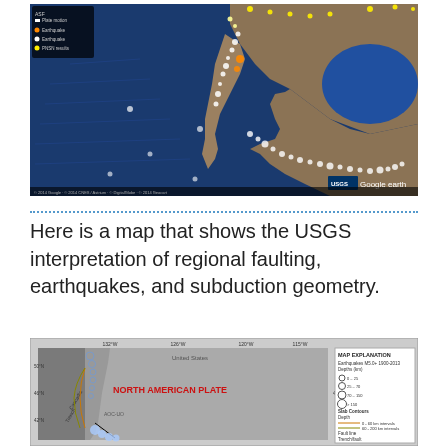[Figure (map): Google Earth / USGS map showing earthquake locations and faulting along the western coast of Mexico and Central America. The map shows the Pacific Ocean in deep blue with clusters of white and yellow dots representing earthquake epicenters along subduction zones. A small legend in the upper-left corner shows symbol types. USGS and Google Earth logos appear in the lower right.]
Here is a map that shows the USGS interpretation of regional faulting, earthquakes, and subduction geometry.
[Figure (map): USGS tectonic map showing the Cascadia subduction zone along the Pacific Northwest coast of the United States. The map displays the North American Plate labeled in red text, slab contour depths, earthquake epicenters shown as circles of varying sizes, faults, and a map explanation legend in the upper right. The Cascadia Trench is visible along the left edge.]